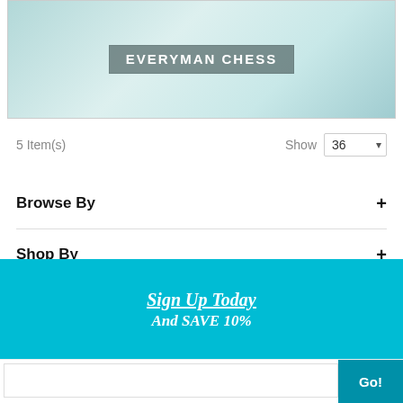[Figure (photo): Everyman Chess banner image with chess pieces in teal/light blue tones, showing the Everyman Chess logo text on a semi-transparent dark rectangle]
5 Item(s)
Show 36
Browse By +
Shop By +
Select Your Currency +
Sign Up Today
And SAVE 10%
Go!